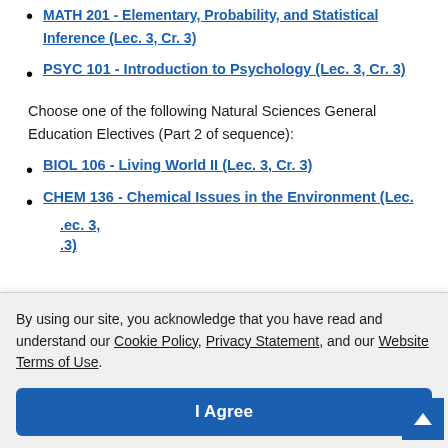MATH 201 - Elementary, Probability, and Statistical Inference (Lec. 3, Cr. 3)
PSYC 101 - Introduction to Psychology (Lec. 3, Cr. 3)
Choose one of the following Natural Sciences General Education Electives (Part 2 of sequence):
BIOL 106 - Living World II (Lec. 3, Cr. 3)
CHEM 136 - Chemical Issues in the Environment (Lec.
By using our site, you acknowledge that you have read and understand our Cookie Policy, Privacy Statement, and our Website Terms of Use.
I Agree